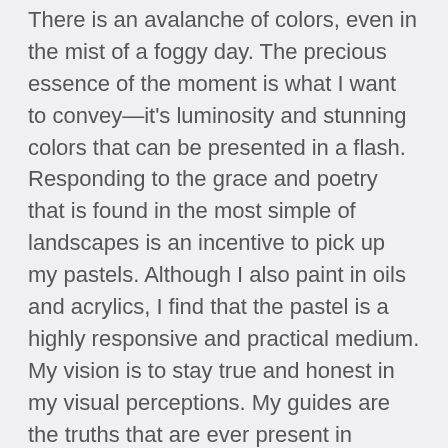There is an avalanche of colors, even in the mist of a foggy day. The precious essence of the moment is what I want to convey—it's luminosity and stunning colors that can be presented in a flash. Responding to the grace and poetry that is found in the most simple of landscapes is an incentive to pick up my pastels. Although I also paint in oils and acrylics, I find that the pastel is a highly responsive and practical medium. My vision is to stay true and honest in my visual perceptions. My guides are the truths that are ever present in nature's glory.
From celebrating a single color to rejoicing in the richness of a medium's large vocabulary of pigments, I hope to give the viewer a sense of color and wonder with every work.